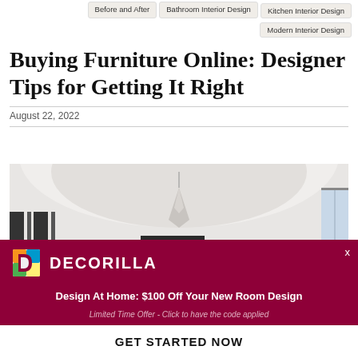Before and After
Bathroom Interior Design
Kitchen Interior Design
Modern Interior Design
Buying Furniture Online: Designer Tips for Getting It Right
August 22, 2022
[Figure (photo): Interior room photo showing a white curved ceiling with a geometric pendant light and a dark rectangular element below, with natural light from a window on the right.]
DECORILLA
Design At Home: $100 Off Your New Room Design
Limited Time Offer - Click to have the code applied
GET STARTED NOW